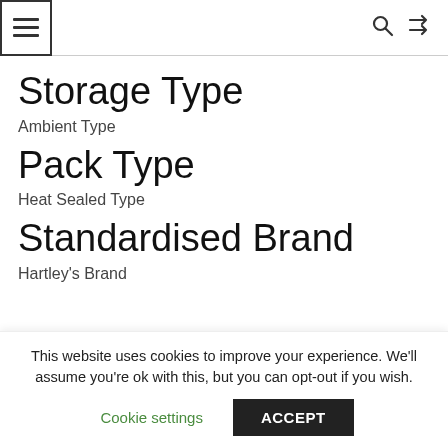≡ [menu icon] | search shuffle
Storage Type
Ambient Type
Pack Type
Heat Sealed Type
Standardised Brand
Hartley's Brand
This website uses cookies to improve your experience. We'll assume you're ok with this, but you can opt-out if you wish.
Cookie settings  ACCEPT